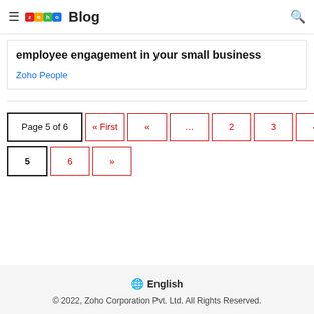≡ ZOHO Blog 🔍
employee engagement in your small business
Zoho People
Page 5 of 6  « First  «  ...  2  3  4  5  6  »
🌐 English
© 2022, Zoho Corporation Pvt. Ltd. All Rights Reserved.